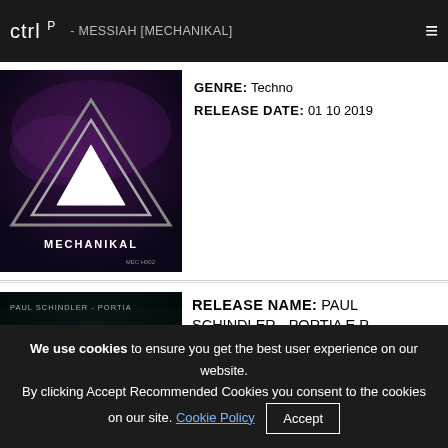ctrl P  - MESSIAH [MECHANIKAL]
[Figure (photo): Album art for Mechanikal release showing triangle/pyramid geometric logo on dark purple background with text MECHANIKAL and MEC H002]
RELEASE DATE: 01 10 2019
[Figure (photo): Album art for Paul Schindler - Portia E.P. [Mechanikal] showing geometric M-shaped logo on dark teal/blue matrix background with text PAUL SCHINDLER - PORTIA]
RELEASE NAME: PAUL SCHINDLER - PORTIA E.P. [MECHANIKAL] GENRE: Techno RELEASE DATE: 17 09 2019
We use cookies to ensure you get the best user experience on our website. By clicking Accept Recommended Cookies you consent to the cookies on our site. Cookie Policy  Accept